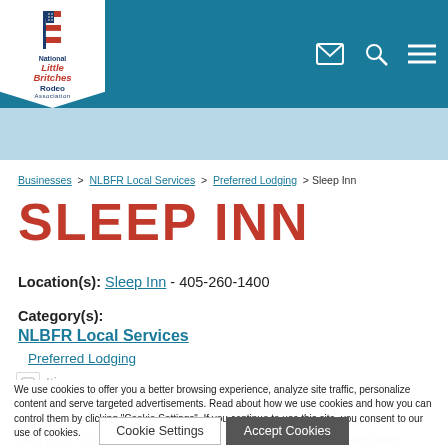[Figure (logo): National Little Britches Rodeo Association logo with American flag motif]
Businesses > NLBFR Local Services > Preferred Lodging > Sleep Inn
SLEEP INN
Location(s): Sleep Inn - 405-260-1400
Category(s):
NLBFR Local Services
Preferred Lodging
We use cookies to offer you a better browsing experience, analyze site traffic, personalize content and serve targeted advertisements. Read about how we use cookies and how you can control them by clicking "Cookie Settings". If you continue to use this site, you consent to our use of cookies.
Cookie Settings
Accept Cookies